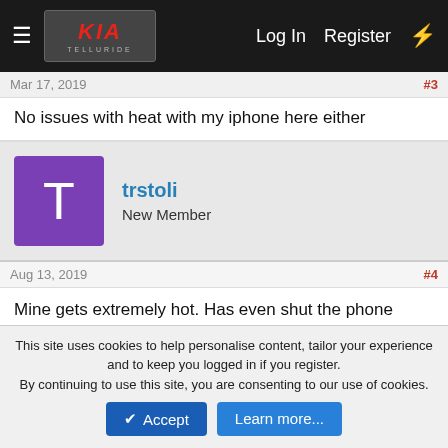Log In  Register
Mar 17, 2019  #3
No issues with heat with my iphone here either
trstoli
New Member
Aug 13, 2019  #4
Mine gets extremely hot. Has even shut the phone down because of overheating. It's in the shop being repaired (someone backed into me in a parking lot). I'm having them look into the overheating while it's there. Will keep you posted on what I find out!
👍 2  Show All
This site uses cookies to help personalise content, tailor your experience and to keep you logged in if you register.
By continuing to use this site, you are consenting to our use of cookies.